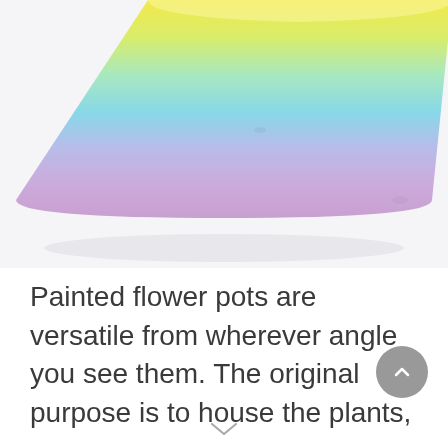[Figure (photo): A rainbow gradient painted flower pot with colors blending from yellow at the top through green, teal, light blue, and lavender/purple at the bottom, photographed against a white background.]
Painted flower pots are versatile from wherever angle you see them. The original purpose is to house the plants,